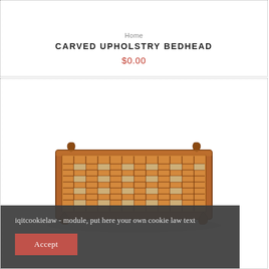Home
CARVED UPHOLSTRY BEDHEAD
$0.00
[Figure (photo): A wooden low-profile bed frame with ornate lattice/carved top surface and curved legs, photographed on white background.]
iqitcookielaw - module, put here your own cookie law text
Accept